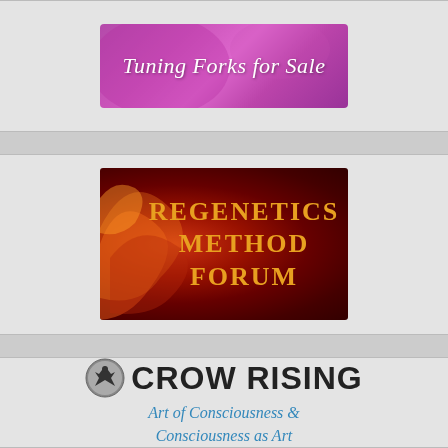[Figure (logo): Tuning Forks for Sale banner — italic serif white text on a purple/magenta gradient background]
[Figure (logo): Regenetics Method Forum banner — gold uppercase serif text on a dark red background with orange/red swirl design on the left]
[Figure (logo): Crow Rising logo — bold sans-serif black text with a circular emblem icon, subtitle 'Art of Consciousness & Consciousness as Art' in italic blue/teal serif text]